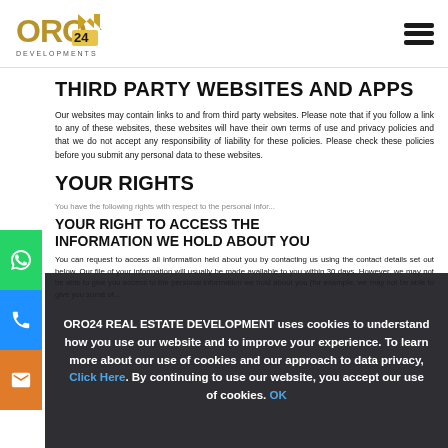ORO24 DEVELOPMENTS
THIRD PARTY WEBSITES AND APPS
Our websites may contain links to and from third party websites. Please note that if you follow a link to any of these websites, these websites will have their own terms of use and privacy policies and that we do not accept any responsibility of liability for these policies. Please check these policies before you submit any personal data to these websites.
YOUR RIGHTS
You have the following rights with respect to the personal infor...
YOUR RIGHT TO ACCESS THE INFORMATION WE HOLD ABOUT YOU
You can request to access all information held about you by contacting us using the contact details set out below. Our file of your information will usually be made available to you within 30 days. However, we may not be able to give you access to the personal information we hold about you (for example, we may not be able to give you some of...
ORO24 REAL ESTATE DEVELOPMENT uses cookies to understand how you use our website and to improve your experience. To learn more about our use of cookies and our approach to data privacy, Click Here. By continuing to use our website, you accept our use of cookies. OK